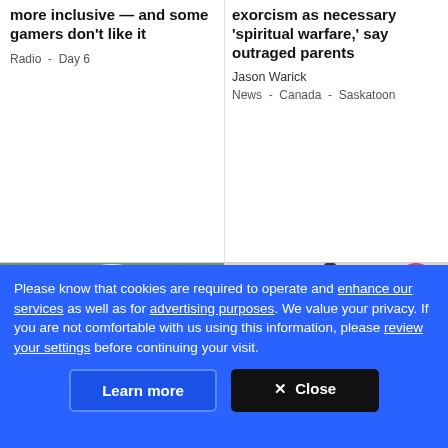more inclusive — and some gamers don't like it
Radio  -  Day 6
exorcism as necessary 'spiritual warfare,' say outraged parents
Jason Warick
News  -  Canada  -  Saskatoon
[Figure (photo): A young male golfer wearing a white cap and blue patterned polo shirt, gesturing with his hand on a golf course]
[Figure (photo): Rows of wine bottles on a shelf with colorful labels and caps]
Please know that cookies are required to operate and enhance our services as well as for advertising purposes. We value your privacy. If you are not comfortable with us using this information, please review your settings before continuing your visit.
Learn more
✕  Close